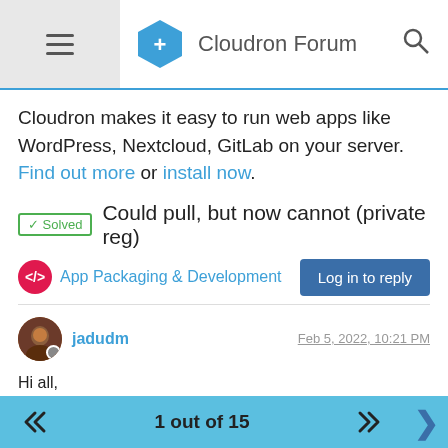Cloudron Forum
Cloudron makes it easy to run web apps like WordPress, Nextcloud, GitLab on your server. Find out more or install now.
Could pull, but now cannot (private reg)
App Packaging & Development
jadudm  Feb 5, 2022, 10:21 PM
Hi all,
I thought I'd explore putting a Grocy container together. Groovy.
I can push/pull (and even DELETE via curl ) from this registry,
1 out of 15